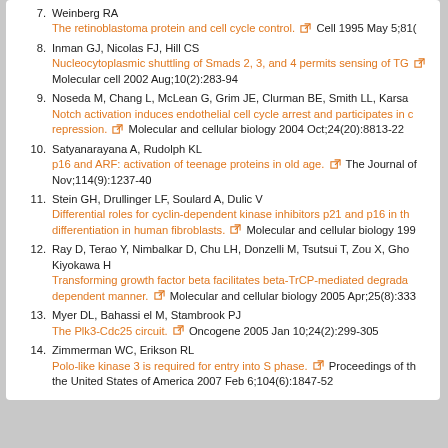7. Weinberg RA The retinoblastoma protein and cell cycle control. Cell 1995 May 5;81(
8. Inman GJ, Nicolas FJ, Hill CS Nucleocytoplasmic shuttling of Smads 2, 3, and 4 permits sensing of TG Molecular cell 2002 Aug;10(2):283-94
9. Noseda M, Chang L, McLean G, Grim JE, Clurman BE, Smith LL, Karsa Notch activation induces endothelial cell cycle arrest and participates in c repression. Molecular and cellular biology 2004 Oct;24(20):8813-22
10. Satyanarayana A, Rudolph KL p16 and ARF: activation of teenage proteins in old age. The Journal of Nov;114(9):1237-40
11. Stein GH, Drullinger LF, Soulard A, Dulic V Differential roles for cyclin-dependent kinase inhibitors p21 and p16 in th differentiation in human fibroblasts. Molecular and cellular biology 199
12. Ray D, Terao Y, Nimbalkar D, Chu LH, Donzelli M, Tsutsui T, Zou X, Gho Kiyokawa H Transforming growth factor beta facilitates beta-TrCP-mediated degrada dependent manner. Molecular and cellular biology 2005 Apr;25(8):333
13. Myer DL, Bahassi el M, Stambrook PJ The Plk3-Cdc25 circuit. Oncogene 2005 Jan 10;24(2):299-305
14. Zimmerman WC, Erikson RL Polo-like kinase 3 is required for entry into S phase. Proceedings of th the United States of America 2007 Feb 6;104(6):1847-52